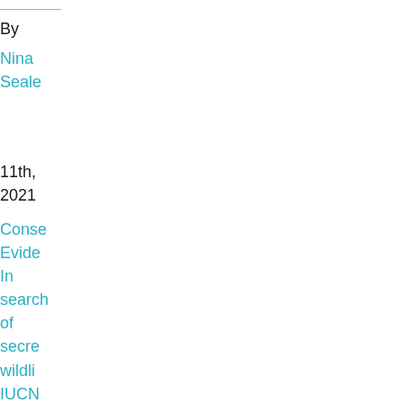By
Nina
Seale
11th,
2021
Conse
Evide
In
search
of
secre
wildli
IUCN
Know
Base,
Prote
Areas
Red